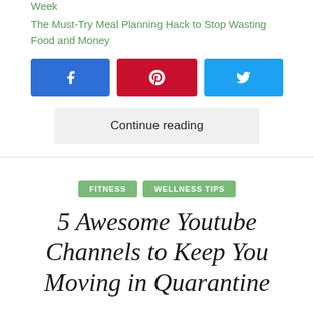Week
The Must-Try Meal Planning Hack to Stop Wasting Food and Money
[Figure (other): Social share buttons: Facebook (blue), Pinterest (red), Twitter (light blue)]
Continue reading
FITNESS   WELLNESS TIPS
5 Awesome Youtube Channels to Keep You Moving in Quarantine